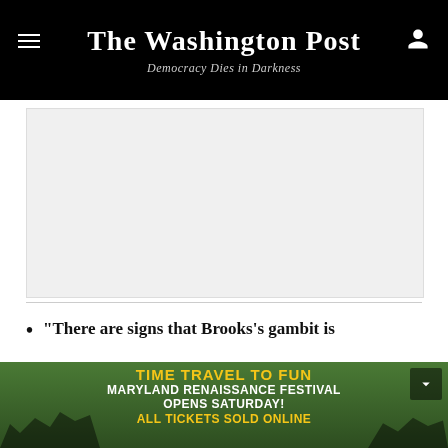The Washington Post — Democracy Dies in Darkness
[Figure (other): Advertisement placeholder area, light gray rectangle]
“There are signs that Brooks’s gambit is
[Figure (photo): Maryland Renaissance Festival advertisement banner with crowd of costumed people in forest setting. Text reads: TIME TRAVEL TO FUN / MARYLAND RENAISSANCE FESTIVAL OPENS SATURDAY! / ALL TICKETS SOLD ONLINE]